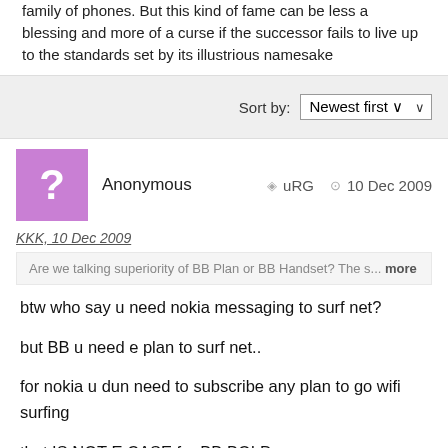family of phones. But this kind of fame can be less a blessing and more of a curse if the successor fails to live up to the standards set by its illustrious namesake
Sort by: Newest first
Anonymous  uRG  10 Dec 2009
KKK, 10 Dec 2009
Are we talking superiority of BB Plan or BB Handset? The s... more
btw who say u need nokia messaging to surf net?
but BB u need e plan to surf net..
for nokia u dun need to subscribe any plan to go wifi surfing
that IS NOT E CASE for BB BOLD..
pls go check u facts right.. so lame